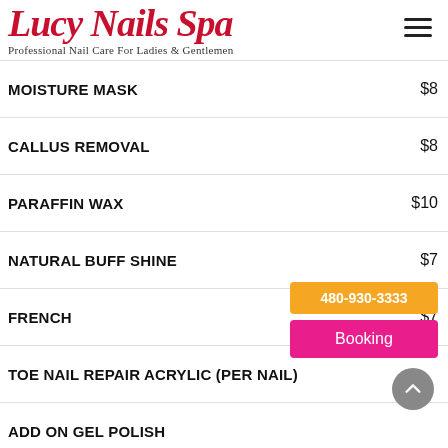[Figure (logo): Lucy Nails Spa logo in red italic script with tagline 'Professional Nail Care For Ladies & Gentlemen']
| Service | Price |
| --- | --- |
| MOISTURE MASK | $8 |
| CALLUS REMOVAL | $8 |
| PARAFFIN WAX | $10 |
| NATURAL BUFF SHINE | $7 |
| FRENCH | $7 |
| TOE NAIL REPAIR ACRYLIC (PER NAIL) | $3+ |
| ADD ON GEL POLISH |  |
| POLISH CHANGE REGULAR COLORS | $14 |
| DIP/ACRYLIC REMOVAL W/SERVICES | $8 |